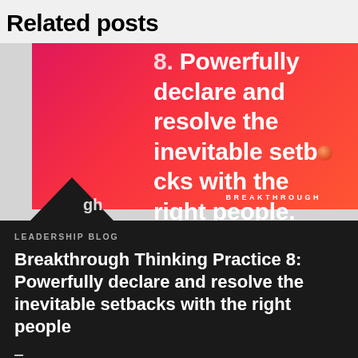Related posts
[Figure (illustration): Promotional image card with a gradient background from hot pink to red-orange showing text: '8. Powerfully declare and resolve the inevitable setbacks with the right people.' with a red ball replacing the letter 'o' in 'setbacks', a 'BREAKTHROUGH' label at the bottom right, and a dark triangle at the bottom left with 'gh' logo text.]
LEADERSHIP BLOG
Breakthrough Thinking Practice 8: Powerfully declare and resolve the inevitable setbacks with the right people
–